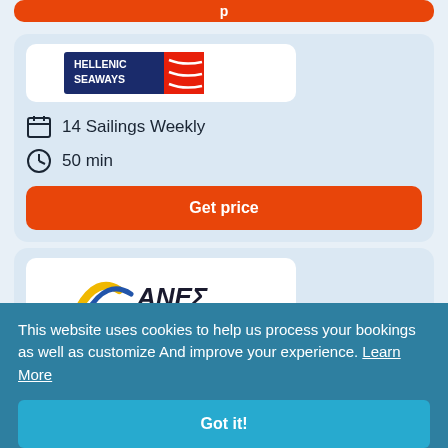[Figure (logo): Orange Get price button at top (partially visible)]
[Figure (logo): Hellenic Seaways ferry company logo - dark blue background with red stylized wave/ship design]
14 Sailings Weekly
50 min
Get price
[Figure (logo): ANES ferry company logo - blue and yellow swoosh with ANEΣ text]
This website uses cookies to help us process your bookings as well as customize And improve your experience. Learn More
Got it!